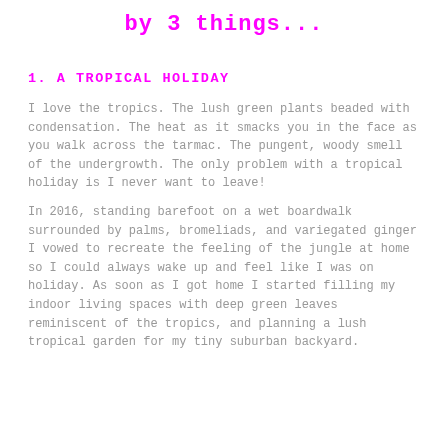by 3 things...
1. A TROPICAL HOLIDAY
I love the tropics. The lush green plants beaded with condensation. The heat as it smacks you in the face as you walk across the tarmac. The pungent, woody smell of the undergrowth. The only problem with a tropical holiday is I never want to leave!
In 2016, standing barefoot on a wet boardwalk surrounded by palms, bromeliads, and variegated ginger I vowed to recreate the feeling of the jungle at home so I could always wake up and feel like I was on holiday. As soon as I got home I started filling my indoor living spaces with deep green leaves reminiscent of the tropics, and planning a lush tropical garden for my tiny suburban backyard.